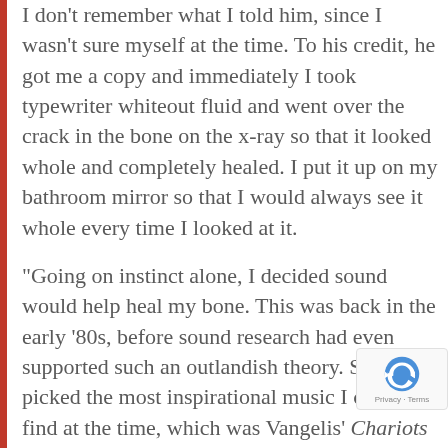I don't remember what I told him, since I wasn't sure myself at the time. To his credit, he got me a copy and immediately I took typewriter whiteout fluid and went over the crack in the bone on the x-ray so that it looked whole and completely healed. I put it up on my bathroom mirror so that I would always see it whole every time I looked at it.
“Going on instinct alone, I decided sound would help heal my bone. This was back in the early ‘80s, before sound research had even supported such an outlandish theory. So I picked the most inspirational music I could find at the time, which was Vangelis’ Chariots of Fire album. I’m not a runner, but if it made even me want to run when I played it, I figured it was probably a good choice.
“Back then, everyone had big stereo floor